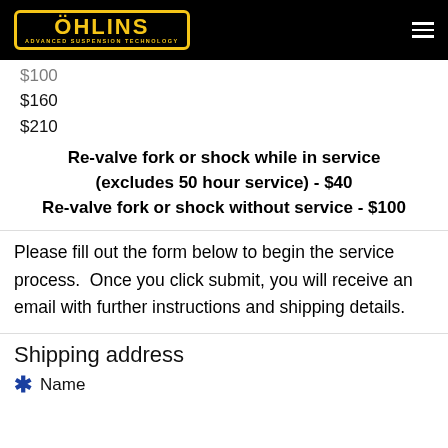ÖHLINS — ADVANCED SUSPENSION TECHNOLOGY
$100
$160
$210
Re-valve fork or shock while in service (excludes 50 hour service) - $40
Re-valve fork or shock without service - $100
Please fill out the form below to begin the service process.  Once you click submit, you will receive an email with further instructions and shipping details.
Shipping address
* Name